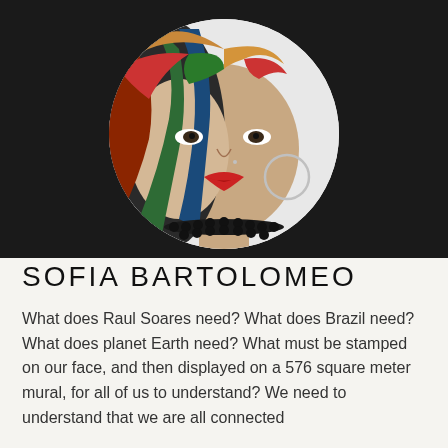[Figure (photo): Portrait photo of Sofia Bartolomeo in a circular frame on a dark background. She wears a colorful headwrap, a dark beaded necklace, large hoop earring, and red lipstick. Left half of face appears as an artistic painting overlay.]
SOFIA BARTOLOMEO
What does Raul Soares need? What does Brazil need? What does planet Earth need? What must be stamped on our face, and then displayed on a 576 square meter mural, for all of us to understand? We need to understand that we are all connected...